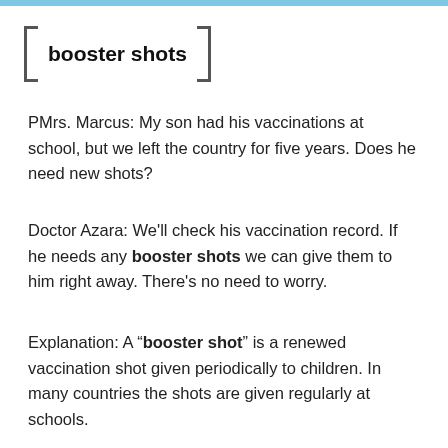booster shots
PMrs. Marcus: My son had his vaccinations at school, but we left the country for five years. Does he need new shots?
Doctor Azara: We'll check his vaccination record. If he needs any booster shots we can give them to him right away. There's no need to worry.
Explanation: A "booster shot" is a renewed vaccination shot given periodically to children. In many countries the shots are given regularly at schools.